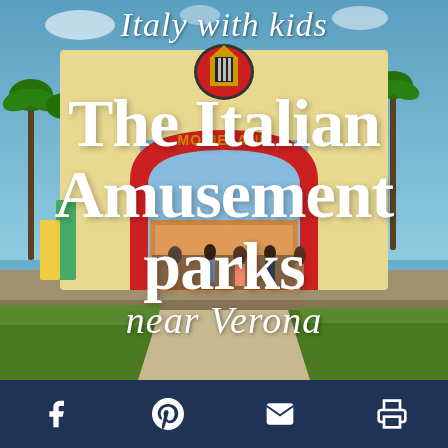[Figure (photo): Entrance gate of Movieland theme park near Verona, Italy. A large Art Deco-style arch in cream/yellow with red accents reads 'MOVIELAND'. A tower labeled 'HOLLYWOOD TOWER' is visible in the background right. Palm trees and a crowd of visitors are seen. Blue sky background.]
Italy with kids
The Italian Amusement parks
near Verona
Facebook  Pinterest  Email  Print